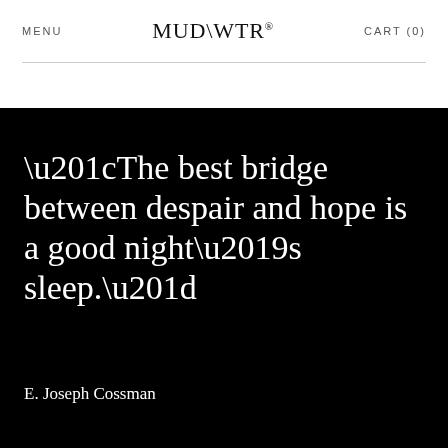MENU   MUD\WTR®   CART (0)
“The best bridge between despair and hope is a good night’s sleep.”
E. Joseph Cossman